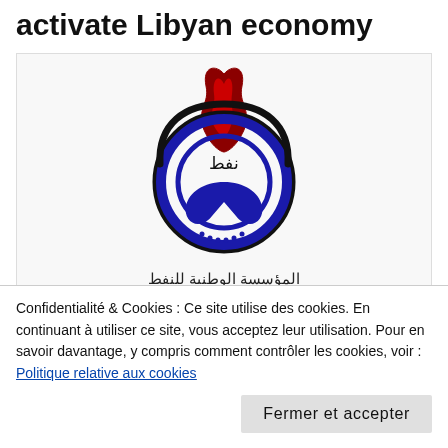activate Libyan economy
[Figure (logo): National Oil Corporation (NOC) logo: flame above a blue circular emblem with Arabic text 'نفط', with Arabic text 'المؤسسة الوطنية للنفط' and English text 'National Oil Corporation' below.]
24/08/2019 – Faiez Serrai, head of Libya's
Confidentialité & Cookies : Ce site utilise des cookies. En continuant à utiliser ce site, vous acceptez leur utilisation. Pour en savoir davantage, y compris comment contrôler les cookies, voir : Politique relative aux cookies
Fermer et accepter
sector.